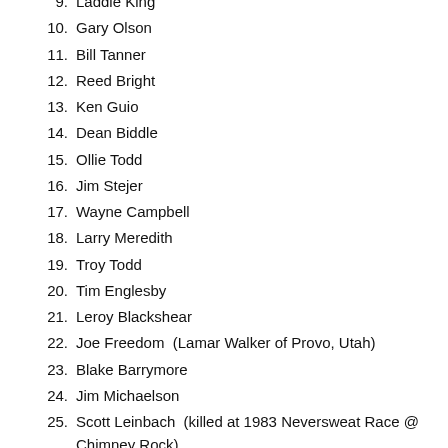9.  Laddie King
10.  Gary Olson
11.  Bill Tanner
12.  Reed Bright
13.  Ken Guio
14.  Dean Biddle
15.  Ollie Todd
16.  Jim Stejer
17.  Wayne Campbell
18.  Larry Meredith
19.  Troy Todd
20.  Tim Englesby
21.  Leroy Blackshear
22.  Joe Freedom  (Lamar Walker of Provo, Utah)
23.  Blake Barrymore
24.  Jim Michaelson
25.  Scott Leinbach  (killed at 1983 Neversweat Race @ Chimney Rock)
26.  Kelly Van Elder